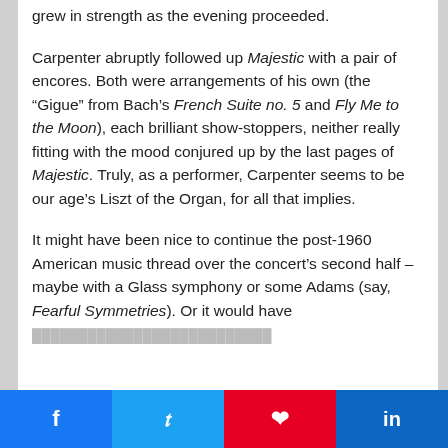grew in strength as the evening proceeded.
Carpenter abruptly followed up Majestic with a pair of encores. Both were arrangements of his own (the “Gigue” from Bach’s French Suite no. 5 and Fly Me to the Moon), each brilliant show-stoppers, neither really fitting with the mood conjured up by the last pages of Majestic. Truly, as a performer, Carpenter seems to be our age’s Liszt of the Organ, for all that implies.
It might have been nice to continue the post-1960 American music thread over the concert’s second half – maybe with a Glass symphony or some Adams (say, Fearful Symmetries). Or it would have been a chance for the BSO to distinguish...